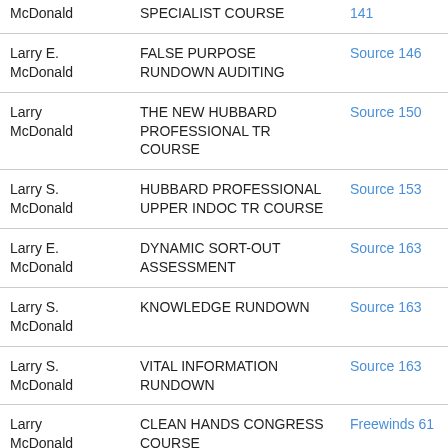| Author | Title | Source | Date |
| --- | --- | --- | --- |
| McDonald | SPECIALIST COURSE | 141 | 12-01 |
| Larry E. McDonald | FALSE PURPOSE RUNDOWN AUDITING | Source 146 | 2003-05-01 |
| Larry McDonald | THE NEW HUBBARD PROFESSIONAL TR COURSE | Source 150 | 2003-11-01 |
| Larry S. McDonald | HUBBARD PROFESSIONAL UPPER INDOC TR COURSE | Source 153 | 2004-04-01 |
| Larry E. McDonald | DYNAMIC SORT-OUT ASSESSMENT | Source 163 | 2005-02-01 |
| Larry S. McDonald | KNOWLEDGE RUNDOWN | Source 163 | 2005-02-01 |
| Larry S. McDonald | VITAL INFORMATION RUNDOWN | Source 163 | 2005-02-01 |
| Larry McDonald | CLEAN HANDS CONGRESS COURSE | Freewinds 61 | 2006-01-01 |
| Larry E. | NEW OT V AUDITED NOTS | Source | 2006- |